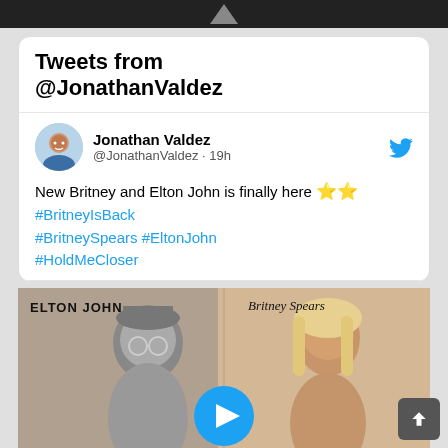[Figure (screenshot): Top dark bar with icon]
Tweets from @JonathanValdez
Jonathan Valdez @JonathanValdez · 19h
New Britney and Elton John is finally here ⭐⭐ #BritneyIsBack #BritneySpears #EltonJohn #HoldMeCloser
[Figure (photo): Album cover image showing Elton John in black and white and Britney Spears in color, with a blue play button overlay. Text reads ELTON JOHN and Britney Spears.]